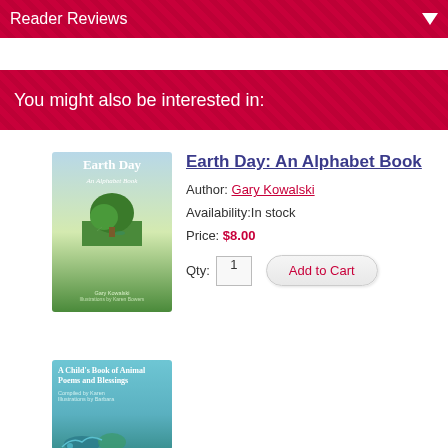Reader Reviews
You might also be interested in:
[Figure (illustration): Book cover for Earth Day: An Alphabet Book with a tree illustration]
Earth Day: An Alphabet Book
Author: Gary Kowalski
Availability:In stock
Price: $8.00
Qty: 1  Add to Cart
[Figure (illustration): Book cover for A Child's Book of Animal Poems and Blessings]